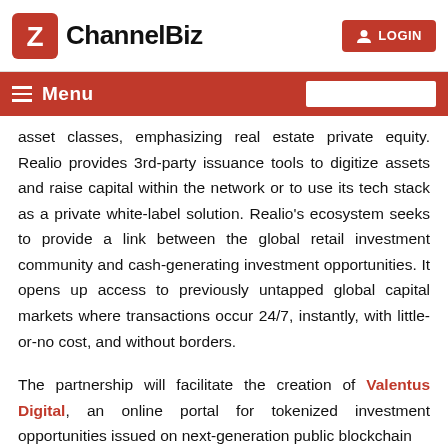ChannelBiz | LOGIN
Menu
asset classes, emphasizing real estate private equity. Realio provides 3rd-party issuance tools to digitize assets and raise capital within the network or to use its tech stack as a private white-label solution. Realio's ecosystem seeks to provide a link between the global retail investment community and cash-generating investment opportunities. It opens up access to previously untapped global capital markets where transactions occur 24/7, instantly, with little-or-no cost, and without borders.
The partnership will facilitate the creation of Valentus Digital, an online portal for tokenized investment opportunities issued on next-generation public blockchain